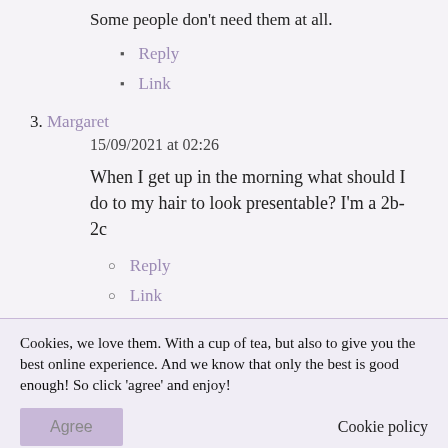Some people don't need them at all.
Reply
Link
3. Margaret
15/09/2021 at 02:26
When I get up in the morning what should I do to my hair to look presentable? I'm a 2b-2c
Reply
Link
Cookies, we love them. With a cup of tea, but also to give you the best online experience. And we know that only the best is good enough! So click 'agree' and enjoy!
Agree
Cookie policy